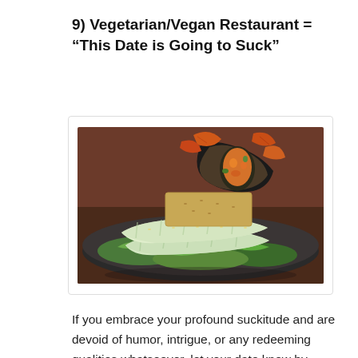9) Vegetarian/Vegan Restaurant = “This Date is Going to Suck”
[Figure (photo): Plate of vegan food including rolled zucchini/cucumber wraps and a filled wrap/burrito with orange chips, served on a dark plate with green salad leaves]
If you embrace your profound suckitude and are devoid of humor, intrigue, or any redeeming qualities whatsoever, let your date know by taking her out for some ridiculously awful vegan food. If she